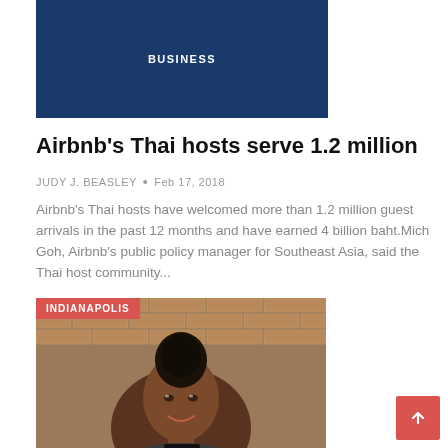[Figure (photo): Dark blue banner image with 'BUSINESS' text label]
Airbnb's Thai hosts serve 1.2 million
JUDY J. BEASLEY • Feb 17, 2018
Airbnb's Thai hosts have welcomed more than 1.2 million guest arrivals in the past 12 months and have earned 4 billion baht.Mich Goh, Airbnb's public policy manager for Southeast Asia, said the Thai host community...
[Figure (photo): Photo of a young Black woman smiling in front of a brick wall, with INDIANAPOLIS tag overlay]
Roommate in the neighborhood: AIRBNB, NAACP collaborate to recruit black hosts
JUDY J. BEASLEY • Feb 15, 2018